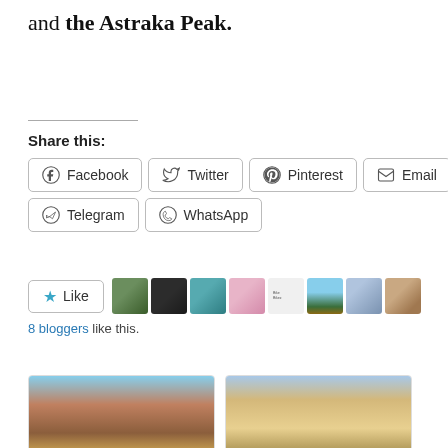and the Astraka Peak.
Share this:
Facebook  Twitter  Pinterest  Email  Telegram  WhatsApp
[Figure (other): Like button with 8 blogger avatars and '8 bloggers like this.' text]
[Figure (photo): Mountain landscape photo for Mount Tymfi (Pindos) Thru-]
Mount Tymfi (Pindos) Thru-
[Figure (photo): Sandy/snowy mountain landscape photo for Mount Tymfi (Pindos) Thru-]
Mount Tymfi (Pindos) Thru-